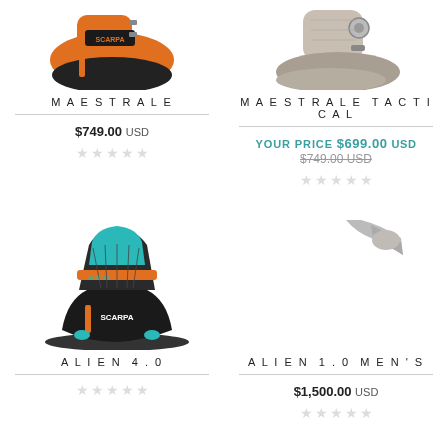[Figure (photo): Scarpa Maestrale ski boot, orange and black color]
[Figure (photo): Scarpa Maestrale Tactical ski boot, grey/beige color]
MAESTRALE
MAESTRALE TACTICAL
$749.00 USD
YOUR PRICE $699.00 USD
$749.00 USD (strikethrough)
[Figure (other): 5 empty star rating icons for Maestrale]
[Figure (other): 5 empty star rating icons for Maestrale Tactical]
[Figure (photo): Scarpa Alien 4.0 ski boot, teal/black/orange color]
[Figure (photo): Scarpa Alien 1.0 Men's ski boot, partially visible]
ALIEN 4.0
ALIEN 1.0 MEN'S
[Figure (other): 5 empty star rating icons for Alien 4.0]
$1,500.00 USD
[Figure (other): 5 empty star rating icons for Alien 1.0 Men's]